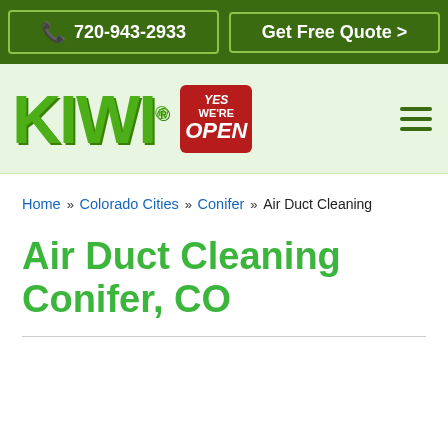720-943-2933 | Get Free Quote >
[Figure (logo): KIWI logo with registered trademark symbol and YES We're OPEN badge, plus hamburger menu icon on green background]
Home » Colorado Cities » Conifer » Air Duct Cleaning
Air Duct Cleaning Conifer, CO